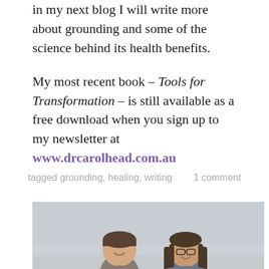in my next blog I will write more about grounding and some of the science behind its health benefits.
My most recent book – Tools for Transformation – is still available as a free download when you sign up to my newsletter at www.drcarolhead.com.au
tagged grounding, healing, writing     1 comment
[Figure (photo): Two people smiling, photographed from the shoulders up against a light grey sky background]